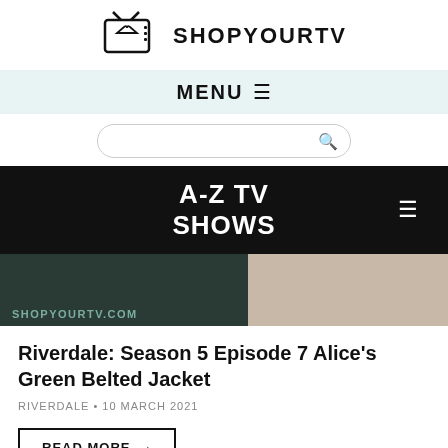SHOPYOURTV
MENU ≡
[Figure (screenshot): Search input box with magnifying glass icon]
A-Z TV SHOWS ≡
[Figure (photo): Dark image strip with SHOPYOURTV.COM watermark and partial figure on right side]
Riverdale: Season 5 Episode 7 Alice's Green Belted Jacket
RIVERDALE • 10 MARCH 2021
READ MORE →